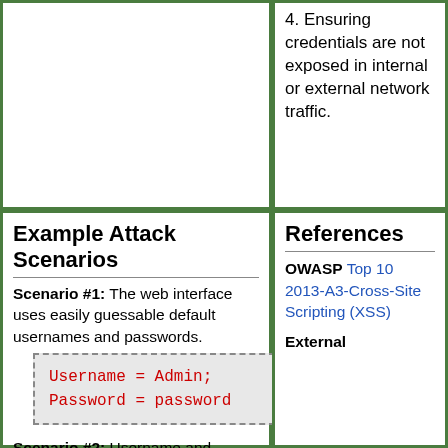4. Ensuring credentials are not exposed in internal or external network traffic.
Example Attack Scenarios
Scenario #1: The web interface uses easily guessable default usernames and passwords.
Scenario #2: Username and password in the clear over the network.
References
OWASP Top 10 2013-A3-Cross-Site Scripting (XSS)
External